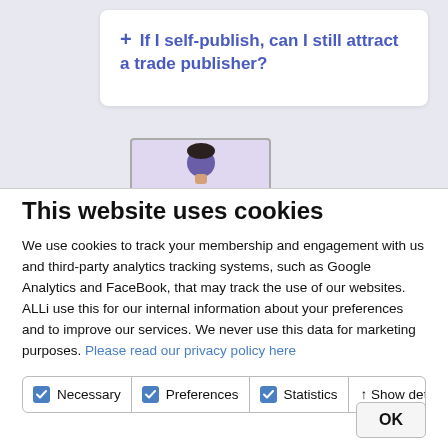[Figure (screenshot): Partial screenshot of a webpage showing an FAQ accordion item with a blue plus icon and text 'If I self-publish, can I still attract a trade publisher?' and a partially visible person illustration card below.]
This website uses cookies
We use cookies to track your membership and engagement with us and third-party analytics tracking systems, such as Google Analytics and FaceBook, that may track the use of our websites. ALLi use this for our internal information about your preferences and to improve our services. We never use this data for marketing purposes. Please read our privacy policy here
Necessary | Preferences | Statistics | ↑ Show details
OK